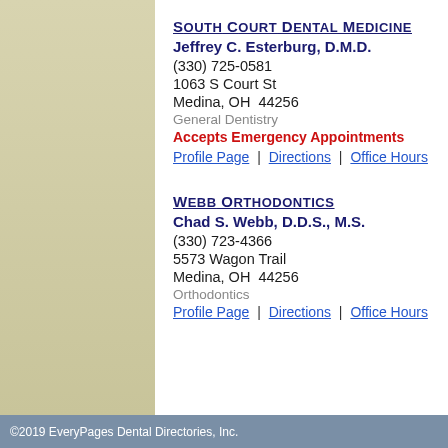South Court Dental Medicine
Jeffrey C. Esterburg, D.M.D.
(330) 725-0581
1063 S Court St
Medina, OH  44256
General Dentistry
Accepts Emergency Appointments
Profile Page | Directions | Office Hours
Webb Orthodontics
Chad S. Webb, D.D.S., M.S.
(330) 723-4366
5573 Wagon Trail
Medina, OH  44256
Orthodontics
Profile Page | Directions | Office Hours
©2019 EveryPages Dental Directories, Inc.